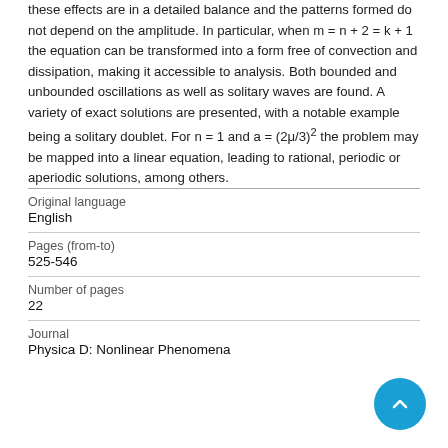these effects are in a detailed balance and the patterns formed do not depend on the amplitude. In particular, when m = n + 2 = k + 1 the equation can be transformed into a form free of convection and dissipation, making it accessible to analysis. Both bounded and unbounded oscillations as well as solitary waves are found. A variety of exact solutions are presented, with a notable example being a solitary doublet. For n = 1 and a = (2μ/3)² the problem may be mapped into a linear equation, leading to rational, periodic or aperiodic solutions, among others.
| Original language | English |
| Pages (from-to) | 525-546 |
| Number of pages | 22 |
| Journal | Physica D: Nonlinear Phenomena |